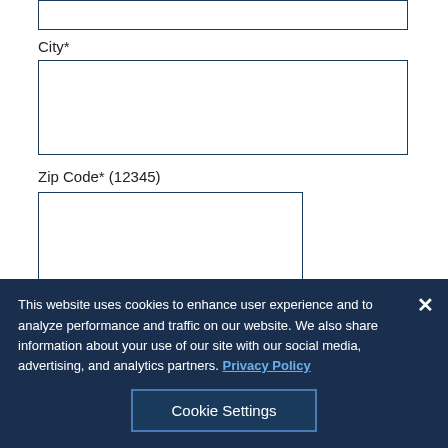[top input box — partial, cropped at top]
City*
Zip Code* (12345)
State*
This website uses cookies to enhance user experience and to analyze performance and traffic on our website. We also share information about your use of our site with our social media, advertising, and analytics partners. Privacy Policy
Cookie Settings